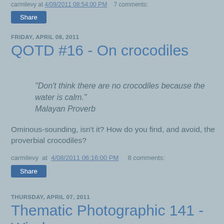carmilevy at 4/09/2011 08:54:00 PM   7 comments:
[Figure (screenshot): Share button at top of page]
FRIDAY, APRIL 08, 2011
QOTD #16 - On crocodiles
"Don't think there are no crocodiles because the water is calm."
Malayan Proverb
Ominous-sounding, isn't it? How do you find, and avoid, the proverbial crocodiles?
carmilevy at 4/08/2011 06:16:00 PM   8 comments:
[Figure (screenshot): Share button mid page]
THURSDAY, APRIL 07, 2011
Thematic Photographic 141 - Windows